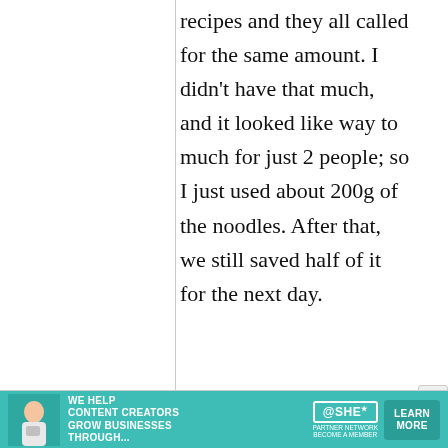recipes and they all called for the same amount. I didn't have that much, and it looked like way to much for just 2 people; so I just used about 200g of the noodles. After that, we still saved half of it for the next day.
[Figure (infographic): Advertisement banner for SHE Media Partner Network. Teal/aqua background with a woman image on the left, bold white text 'WE HELP CONTENT CREATORS GROW BUSINESSES THROUGH...', SHE logo with 'PARTNER NETWORK / BECOME A MEMBER' text, and a 'LEARN MORE' button.]